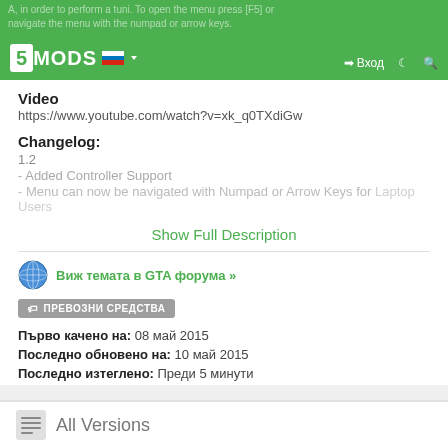5MODS header with navigation
Video
https://www.youtube.com/watch?v=xk_q0TXdiGw
Changelog:
1.2
- Added Controller Support
- Menu can now be navigated with Numpad or Arrow Keys for Laptop Users
Show Full Description
Виж темата в GTA форума »
ПРЕВОЗНИ СРЕДСТВА
Първо качено на: 08 май 2015
Последно обновено на: 10 май 2015
Последно изтеглено: Преди 5 минути
All Versions